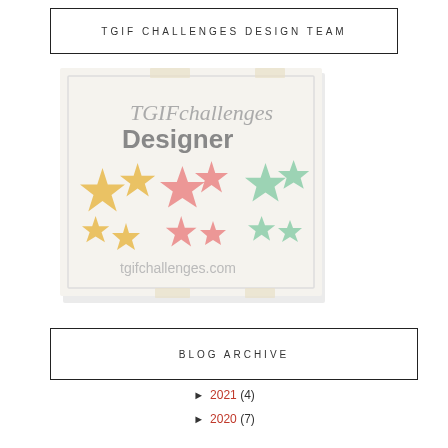TGIF CHALLENGES DESIGN TEAM
[Figure (logo): TGIF Challenges Designer badge with colorful stars and text 'TGIFchallenges Designer' and 'tgifchallenges.com']
BLOG ARCHIVE
► 2021 (4)
► 2020 (7)